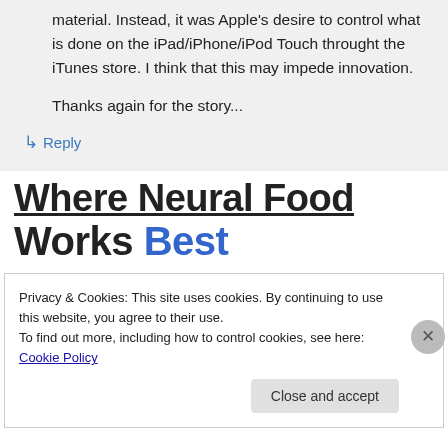material. Instead, it was Apple's desire to control what is done on the iPad/iPhone/iPod Touch throught the iTunes store. I think that this may impede innovation.

Thanks again for the story...
↳ Reply
Where Neural Food Works Best
Privacy & Cookies: This site uses cookies. By continuing to use this website, you agree to their use.
To find out more, including how to control cookies, see here: Cookie Policy
Close and accept